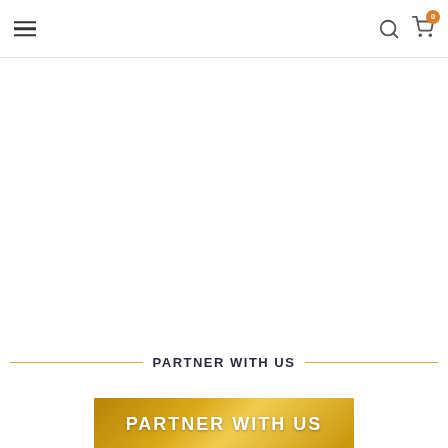Navigation header with hamburger menu, search icon, and cart icon with badge 0
PARTNER WITH US
[Figure (infographic): Golden banner with bold white text reading PARTNER WITH US]